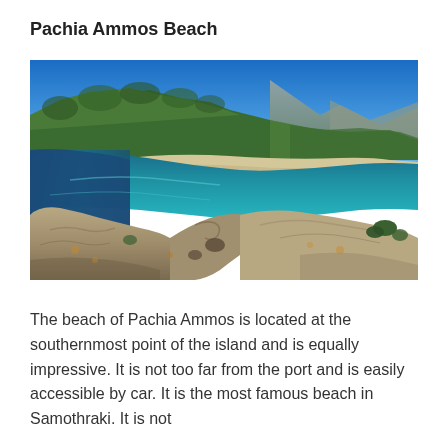Pachia Ammos Beach
[Figure (photo): Aerial view of Pachia Ammos Beach on Samothraki island, showing a curved sandy white beach with turquoise/teal water, surrounded by rocky cliffs in the foreground, green forested hills, and a clear deep blue sky with mountains in the background.]
The beach of Pachia Ammos is located at the southernmost point of the island and is equally impressive. It is not too far from the port and is easily accessible by car. It is the most famous beach in Samothraki. It is not